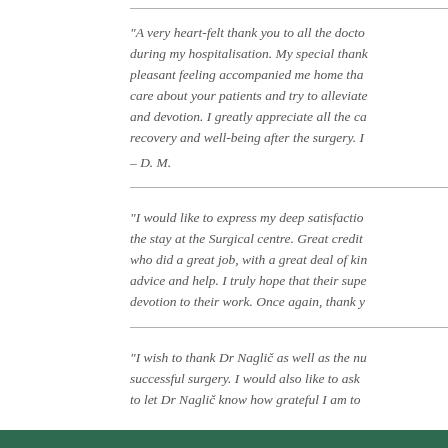“A very heart-felt thank you to all the doctors and nurses during my hospitalisation. My special thanks... pleasant feeling accompanied me home tha... care about your patients and try to alleviate... and devotion. I greatly appreciate all the care... recovery and well-being after the surgery. I...
– D. M.
“I would like to express my deep satisfaction... the stay at the Surgical centre. Great credit... who did a great job, with a great deal of kindness... advice and help. I truly hope that their superiors... devotion to their work. Once again, thank you...
“I wish to thank Dr Naglič as well as the nurses for the successful surgery. I would also like to ask... to let Dr Naglič know how grateful I am to...